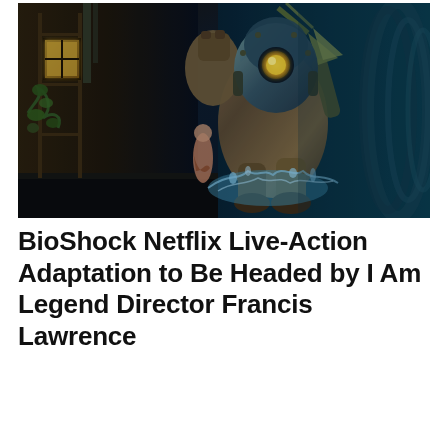[Figure (illustration): BioShock game artwork showing Big Daddy armored character in an underwater art deco corridor, with a small figure beside it and water splashing on the floor]
BioShock Netflix Live-Action Adaptation to Be Headed by I Am Legend Director Francis Lawrence